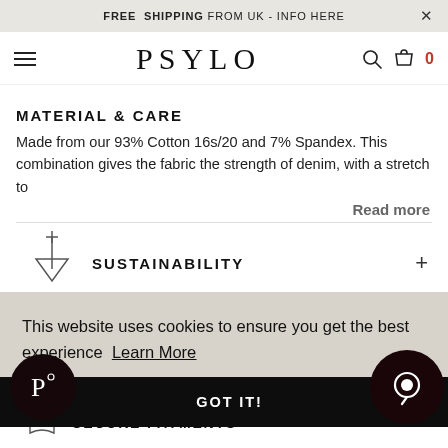FREE SHIPPING FROM UK - INFO HERE
[Figure (logo): PSYLO brand logo with hamburger menu, search and cart icons]
MATERIAL & CARE
Made from our 93% Cotton 16s/20 and 7% Spandex. This combination gives the fabric the strength of denim, with a stretch to
Read more
[Figure (illustration): Sustainability icon - downward pointing triangle/arrow symbol]
SUSTAINABILITY
This website uses cookies to ensure you get the best experience  Learn More
GOT IT!
[Figure (logo): Psylo P logo chat bubble bottom left]
[Figure (illustration): Chat bubble icon bottom right]
SECURE PAYMENTS